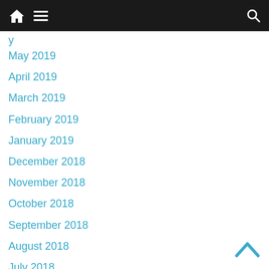Navigation bar with home, menu, and search icons
y (partial, top cut off)
May 2019
April 2019
March 2019
February 2019
January 2019
December 2018
November 2018
October 2018
September 2018
August 2018
July 2018
June 2018
May 2018